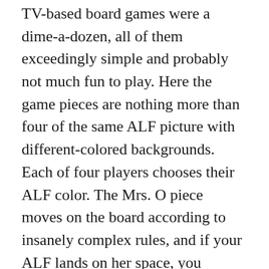TV-based board games were a dime-a-dozen, all of them exceedingly simple and probably not much fun to play. Here the game pieces are nothing more than four of the same ALF picture with different-colored backgrounds. Each of four players chooses their ALF color. The Mrs. O piece moves on the board according to insanely complex rules, and if your ALF lands on her space, you probably die an instant, spontaneous-bleeding, brain-swelling death, because that old lady looks EVVVIIIILLL.
The directions seem overly simple, and yet overly complicated at the same time. I've read them about four times, and I still have no idea how to play. I loathe reading board game